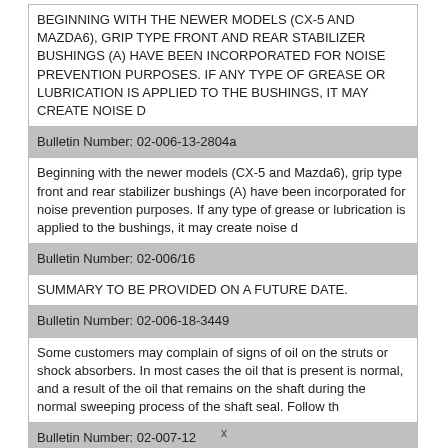| BEGINNING WITH THE NEWER MODELS (CX-5 AND MAZDA6), GRIP TYPE FRONT AND REAR STABILIZER BUSHINGS (A) HAVE BEEN INCORPORATED FOR NOISE PREVENTION PURPOSES. IF ANY TYPE OF GREASE OR LUBRICATION IS APPLIED TO THE BUSHINGS, IT MAY CREATE NOISE D |
| Bulletin Number: 02-006-13-2804a |
| Beginning with the newer models (CX-5 and Mazda6), grip type front and rear stabilizer bushings (A) have been incorporated for noise prevention purposes. If any type of grease or lubrication is applied to the bushings, it may create noise d |
| Bulletin Number: 02-006/16 |
| SUMMARY TO BE PROVIDED ON A FUTURE DATE. |
| Bulletin Number: 02-006-18-3449 |
| Some customers may complain of signs of oil on the struts or shock absorbers. In most cases the oil that is present is normal, and a result of the oil that remains on the shaft during the normal sweeping process of the shaft seal. Follow th |
| Bulletin Number: 02-007-12 |
| SUMMARY TO BE PROVIDED ON A FUTURE DATE. |
| Bulletin Number: 02-007-12-2740 |
| CUSTOMER COMPLAINTS HAVE BEEN REPORTED WHERE THE TPMS WARNING LIGHT IS UNNECESSARILY ILLUMINATED BECAUSE THE TPMS |